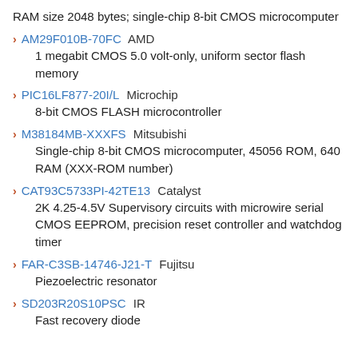RAM size 2048 bytes; single-chip 8-bit CMOS microcomputer
AM29F010B-70FC AMD
1 megabit CMOS 5.0 volt-only, uniform sector flash memory
PIC16LF877-20I/L Microchip
8-bit CMOS FLASH microcontroller
M38184MB-XXXFS Mitsubishi
Single-chip 8-bit CMOS microcomputer, 45056 ROM, 640 RAM (XXX-ROM number)
CAT93C5733PI-42TE13 Catalyst
2K 4.25-4.5V Supervisory circuits with microwire serial CMOS EEPROM, precision reset controller and watchdog timer
FAR-C3SB-14746-J21-T Fujitsu
Piezoelectric resonator
SD203R20S10PSC IR
Fast recovery diode